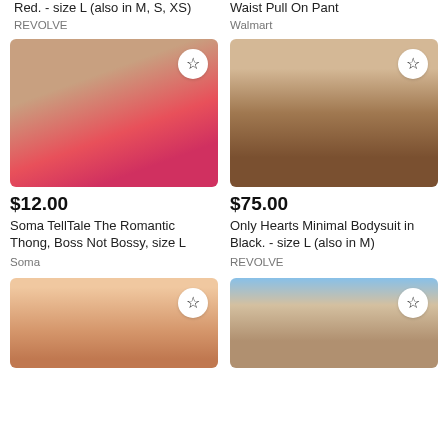Red. - size L (also in M, S, XS)
Waist Pull On Pant
REVOLVE
Walmart
[Figure (photo): Woman wearing pink/red bra and matching underwear with a denim jacket]
[Figure (photo): Woman wearing a black sheer minimal bodysuit]
$12.00
Soma TellTale The Romantic Thong, Boss Not Bossy, size L
Soma
$75.00
Only Hearts Minimal Bodysuit in Black. - size L (also in M)
REVOLVE
[Figure (photo): Woman with brown hair in lingerie - bottom left product]
[Figure (photo): Woman in swimwear with blue sky background - bottom right product]